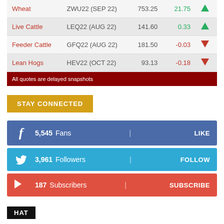| Commodity | Contract | Price | Change |  |
| --- | --- | --- | --- | --- |
| Wheat | ZWU22 (SEP 22) | 753.25 | 21.75 | ↑ |
| Live Cattle | LEQ22 (AUG 22) | 141.60 | 0.33 | ↑ |
| Feeder Cattle | GFQ22 (AUG 22) | 181.50 | -0.03 | ↓ |
| Lean Hogs | HEV22 (OCT 22) | 93.13 | -0.18 | ↓ |
All quotes are delayed snapshots
STAY CONNECTED
5,545  Fans  LIKE
3,961  Followers  FOLLOW
187  Subscribers  SUBSCRIBE
HAT
HAT RADIO STATIONS
ADVERTISING